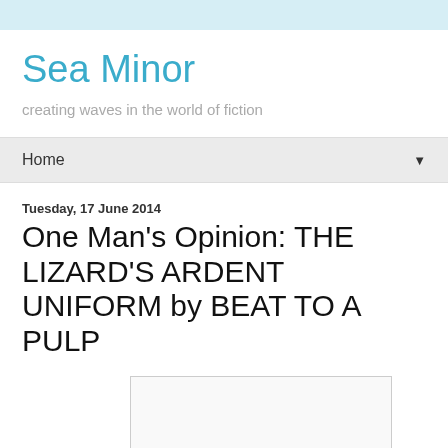Sea Minor
creating waves in the world of fiction
Home
Tuesday, 17 June 2014
One Man's Opinion: THE LIZARD'S ARDENT UNIFORM by BEAT TO A PULP
[Figure (other): Book cover image placeholder (white rectangle with border)]